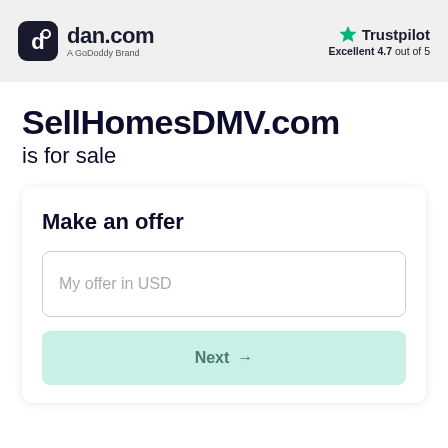dan.com — A GoDoddy Brand | Trustpilot Excellent 4.7 out of 5
SellHomesDMV.com is for sale
Make an offer
My offer in USD
Next →